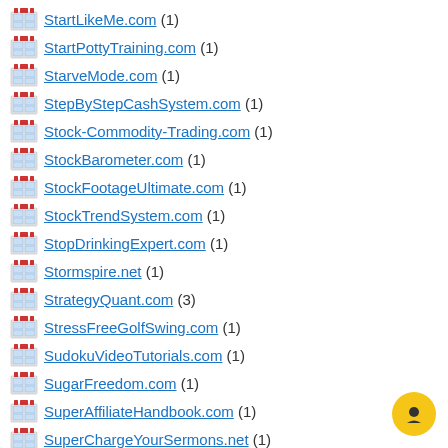StartLikeMe.com (1)
StartPottyTraining.com (1)
StarveMode.com (1)
StepByStepCashSystem.com (1)
Stock-Commodity-Trading.com (1)
StockBarometer.com (1)
StockFootageUltimate.com (1)
StockTrendSystem.com (1)
StopDrinkingExpert.com (1)
Stormspire.net (1)
StrategyQuant.com (3)
StressFreeGolfSwing.com (1)
SudokuVideoTutorials.com (1)
SugarFreedom.com (1)
SuperAffiliateHandbook.com (1)
SuperChargeYourSermons.net (1)
SuperheroHomeWorkout.com (1)
SuperiorSingingMethod.com (1)
SuperMemoryFormula.com (0)
SuperSalesMachine.net (1)